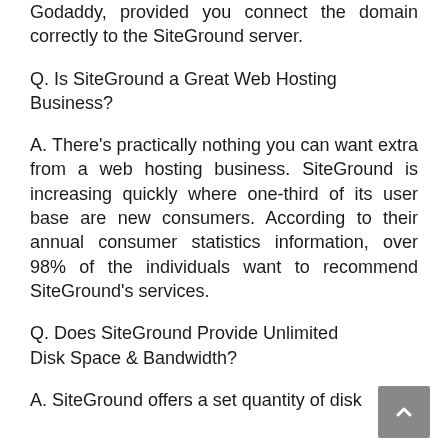Godaddy, provided you connect the domain correctly to the SiteGround server.
Q. Is SiteGround a Great Web Hosting Business?
A. There’s practically nothing you can want extra from a web hosting business. SiteGround is increasing quickly where one-third of its user base are new consumers. According to their annual consumer statistics information, over 98% of the individuals want to recommend SiteGround’s services.
Q. Does SiteGround Provide Unlimited Disk Space & Bandwidth?
A. SiteGround offers a set quantity of disk